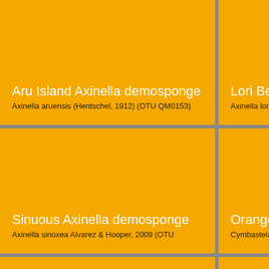[Figure (illustration): Aru Island Axinella demosponge tile card — orange background with common name and scientific name text overlay]
[Figure (illustration): Lori Bell's Axinella tile card (partially visible) — orange background with common name and scientific name text overlay]
[Figure (illustration): Sinuous Axinella demosponge tile card — orange background with common name and scientific name text overlay]
[Figure (illustration): Orange drinking sponge tile card (partially visible) — orange background with common name and scientific name text overlay]
[Figure (illustration): Bottom-row left tile card (partially visible) — orange background]
[Figure (illustration): Bottom-row right tile card (partially visible) — orange background]